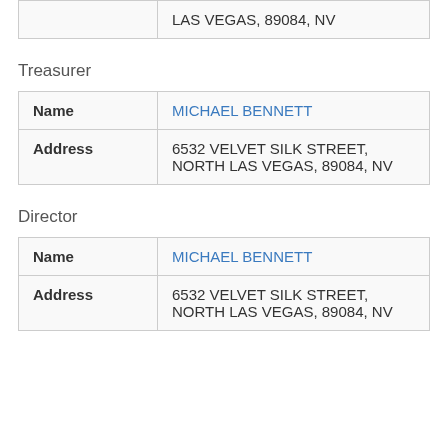|  |  |
| --- | --- |
| Address | LAS VEGAS, 89084, NV |
Treasurer
| Name | MICHAEL BENNETT |
| Address | 6532 VELVET SILK STREET, NORTH LAS VEGAS, 89084, NV |
Director
| Name | MICHAEL BENNETT |
| Address | 6532 VELVET SILK STREET, NORTH LAS VEGAS, 89084, NV |